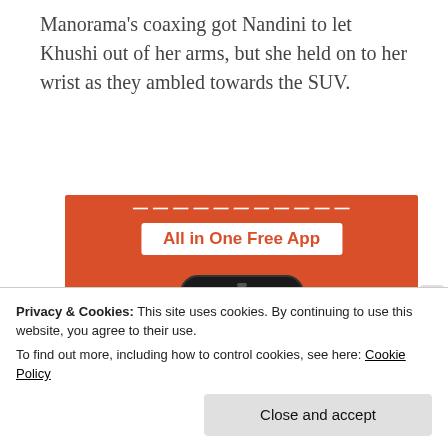Manorama's coaxing got Nandini to let Khushi out of her arms, but she held on to her wrist as they ambled towards the SUV.
[Figure (illustration): DuckDuckGo advertisement banner on orange background showing 'All in One Free App' text with a smartphone displaying the DuckDuckGo duck logo]
Privacy & Cookies: This site uses cookies. By continuing to use this website, you agree to their use.
To find out more, including how to control cookies, see here: Cookie Policy
Close and accept